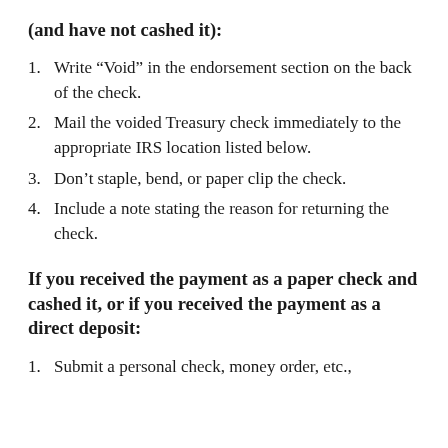(and have not cashed it):
Write “Void” in the endorsement section on the back of the check.
Mail the voided Treasury check immediately to the appropriate IRS location listed below.
Don’t staple, bend, or paper clip the check.
Include a note stating the reason for returning the check.
If you received the payment as a paper check and cashed it, or if you received the payment as a direct deposit:
Submit a personal check, money order, etc.,